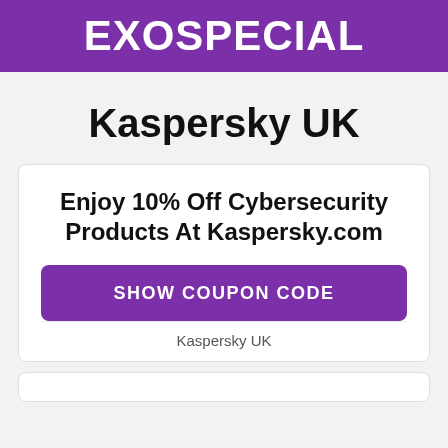EXOSPECIAL
Kaspersky UK
Enjoy 10% Off Cybersecurity Products At Kaspersky.com
SHOW COUPON CODE
Kaspersky UK